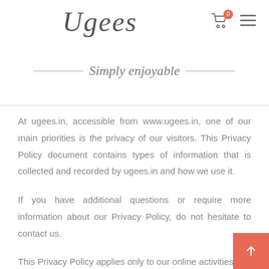Ugees — Simply enjoyable
At ugees.in, accessible from www.ugees.in, one of our main priorities is the privacy of our visitors. This Privacy Policy document contains types of information that is collected and recorded by ugees.in and how we use it.
If you have additional questions or require more information about our Privacy Policy, do not hesitate to contact us.
This Privacy Policy applies only to our online activities and is valid for visitors to our website